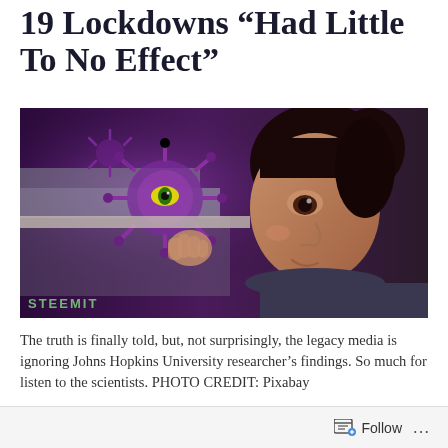19 Lockdowns “Had Little To No Effect”
[Figure (photo): A young child looking out a window, with illustrated coronavirus particles superimposed on the left side of the image. Watermark text reading 'STEEMIT' appears at the bottom left.]
The truth is finally told, but, not surprisingly, the legacy media is ignoring Johns Hopkins University researcher’s findings. So much for listen to the scientists. PHOTO CREDIT: Pixabay
Follow ...